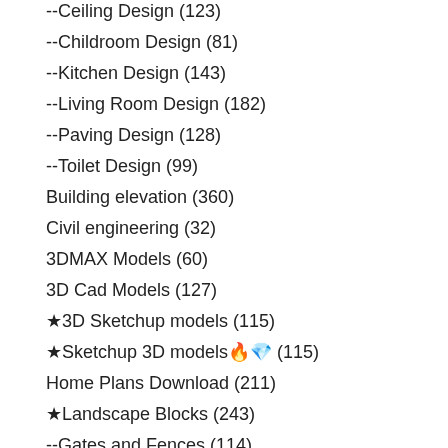--Ceiling Design (123)
--Childroom Design (81)
--Kitchen Design (143)
--Living Room Design (182)
--Paving Design (128)
--Toilet Design (99)
Building elevation (360)
Civil engineering (32)
3DMAX Models (60)
3D Cad Models (127)
★3D Sketchup models (115)
★Sketchup 3D models🔥💎 (115)
Home Plans Download (211)
★Landscape Blocks (243)
--Gates and Fences (114)
--Wrought iron (102)
★Landscape Design Drawings🔥💎 (522)
--Residential Landscape (296)
--Urban City Design (241)
--Square Design (257)
★Stage Lighting,Stage,Sound system,Auditorium